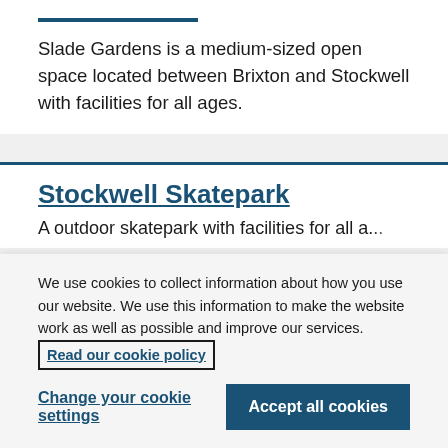Slade Gardens is a medium-sized open space located between Brixton and Stockwell with facilities for all ages.
Stockwell Skatepark
We use cookies to collect information about how you use our website. We use this information to make the website work as well as possible and improve our services. Read our cookie policy
Change your cookie settings
Accept all cookies